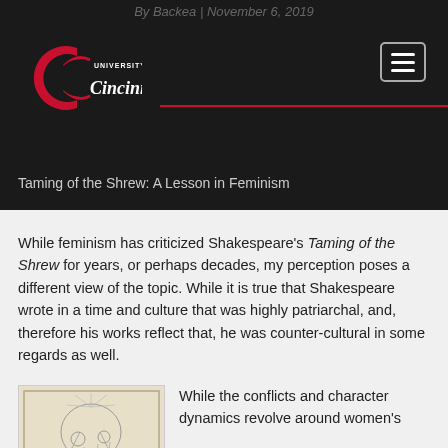By Backea | November 6, 2019
[Figure (logo): University of Cincinnati logo with red C emblem and white text]
Taming of the Shrew: A Lesson in Feminism
While feminism has criticized Shakespeare's Taming of the Shrew for years, or perhaps decades, my perception poses a different view of the topic. While it is true that Shakespeare wrote in a time and culture that was highly patriarchal, and, therefore his works reflect that, he was counter-cultural in some regards as well.
[Figure (illustration): Vintage illustration or engraving showing figures, possibly from Taming of the Shrew]
While the conflicts and character dynamics revolve around women's